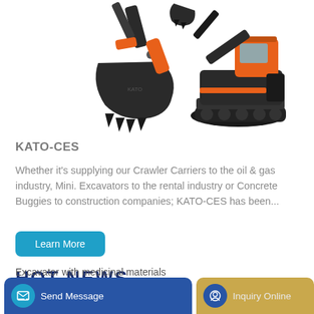[Figure (photo): Two pieces of orange and black heavy construction machinery — a large excavator bucket attachment on the left and a crawler excavator on the right, shown on a white background.]
KATO-CES
Whether it's supplying our Crawler Carriers to the oil & gas industry, Mini. Excavators to the rental industry or Concrete Buggies to construction companies; KATO-CES has been...
Learn More
HOT NEWS
Excavator with medicinal materials